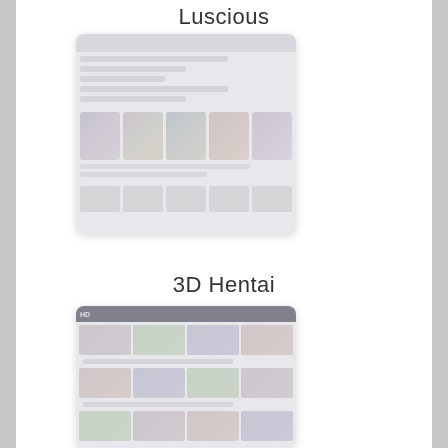Luscious
[Figure (screenshot): Blurred/faded screenshot of the Luscious website showing a manga/hentai content browsing interface with thumbnail image rows]
3D Hentai
[Figure (screenshot): Blurred/faded screenshot of the 3D Hentai website showing a video/content browsing interface with thumbnail image rows and a dark header bar]